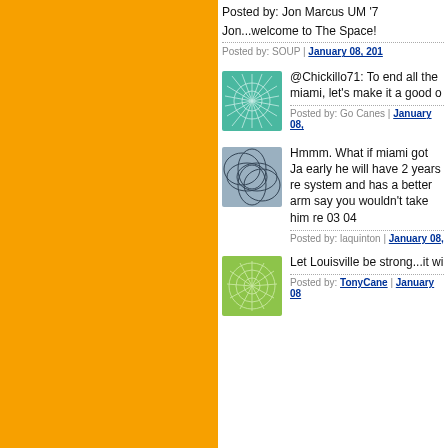Posted by: Jon Marcus UM '7
Jon...welcome to The Space!
Posted by: SOUP | January 08, 201...
[Figure (illustration): Green avatar with leaf/tree pattern]
@Chickillo71: To end all the miami, let's make it a good o...
Posted by: Go Canes | January 08,...
[Figure (illustration): Blue-gray avatar with intersecting curves pattern]
Hmmm. What if miami got Ja... early he will have 2 years re... system and has a better arm... say you wouldn't take him re... 03 04
Posted by: laquinton | January 08,...
[Figure (illustration): Green avatar with starburst/geometric pattern]
Let Louisville be strong...it wi...
Posted by: TonyCane | January 08...